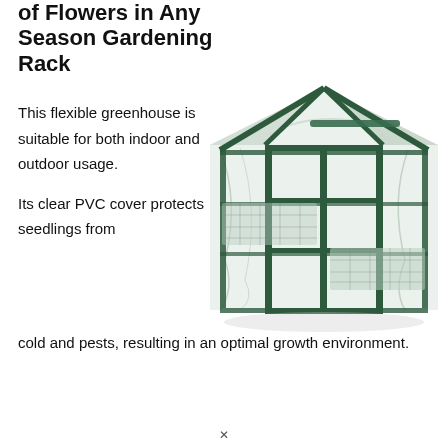of Flowers in Any Season Gardening Rack
This flexible greenhouse is suitable for both indoor and outdoor usage.
[Figure (illustration): A walkable greenhouse structure with dark green metal frame and clear PVC cover, showing multiple shelves inside, free-standing with a peaked roof.]
Its clear PVC cover protects seedlings from cold and pests, resulting in an optimal growth environment.